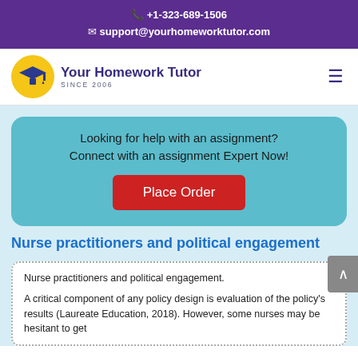+1-323-689-1506
support@yourhomeworktutor.com
[Figure (logo): Your Homework Tutor logo — yellow circle with dark blue graduation cap icon, text 'Your Homework Tutor SINCE 2006']
Looking for help with an assignment? Connect with an assignment Expert Now!
Place Order
Nurse practitioners and political engagement
Nurse practitioners and political engagement.
A critical component of any policy design is evaluation of the policy's results (Laureate Education, 2018). However, some nurses may be hesitant to get